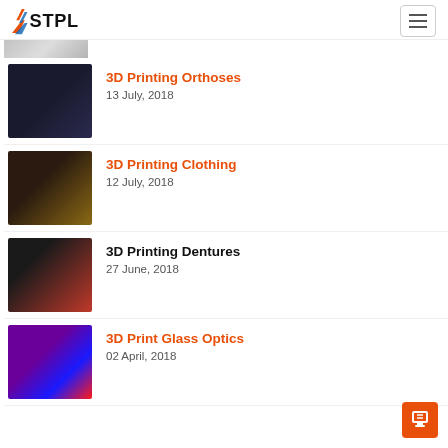STPL logo and navigation
[Figure (screenshot): Partially visible top image strip]
3D Printing Orthoses
13 July, 2018
3D Printing Clothing
12 July, 2018
3D Printing Dentures
27 June, 2018
3D Print Glass Optics
02 April, 2018